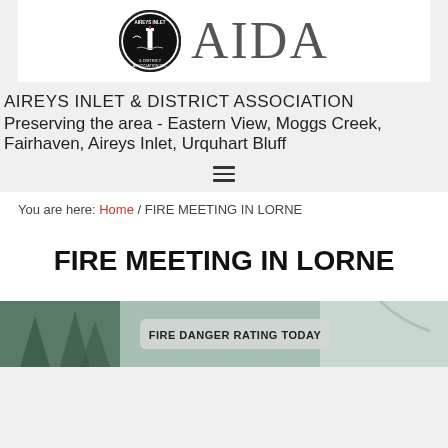AIREYS INLET & DISTRICT ASSOCIATION — AIDA logo header
AIREYS INLET & DISTRICT ASSOCIATION
Preserving the area - Eastern View, Moggs Creek, Fairhaven, Aireys Inlet, Urquhart Bluff
≡ (menu icon)
You are here: Home / FIRE MEETING IN LORNE
FIRE MEETING IN LORNE
[Figure (photo): Fire danger rating sign photo with trees in background. Badge reads: FIRE DANGER RATING TODAY]